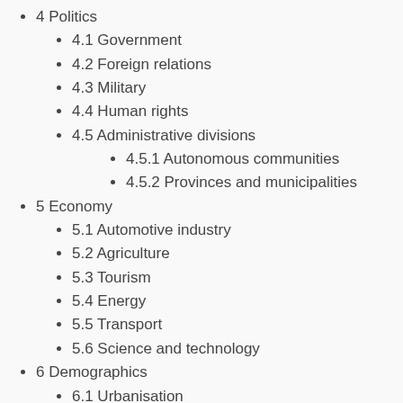4 Politics
4.1 Government
4.2 Foreign relations
4.3 Military
4.4 Human rights
4.5 Administrative divisions
4.5.1 Autonomous communities
4.5.2 Provinces and municipalities
5 Economy
5.1 Automotive industry
5.2 Agriculture
5.3 Tourism
5.4 Energy
5.5 Transport
5.6 Science and technology
6 Demographics
6.1 Urbanisation
6.2 Peoples
6.3 Minority groups